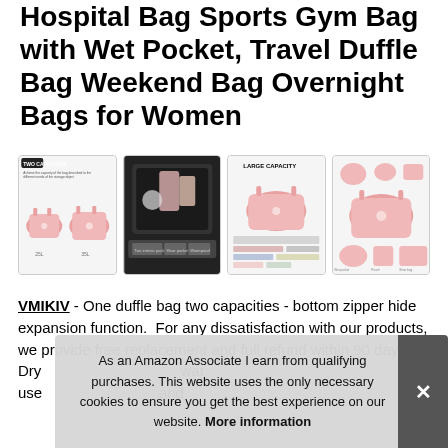Hospital Bag Sports Gym Bag with Wet Pocket, Travel Duffle Bag Weekend Bag Overnight Bags for Women
[Figure (photo): Four product images of a pink duffle/gym bag showing: (1) diagram of two capacities with bag photos, (2) interior of bag with items, (3) 'LARGE CAPACITY' label with bag and items laid out, (4) diagram of bag and accessories]
VMIKIV - One duffle bag two capacities - bottom zipper hide expansion function. For any dissatisfaction with our products, we provide free replacement and full refund within 90 days. Dry [partially obscured] wat[er] use[...] and[...]
As an Amazon Associate I earn from qualifying purchases. This website uses the only necessary cookies to ensure you get the best experience on our website. More information